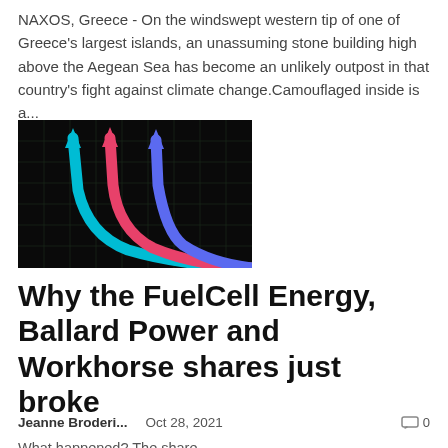NAXOS, Greece - On the windswept western tip of one of Greece's largest islands, an unassuming stone building high above the Aegean Sea has become an unlikely outpost in that country's fight against climate change.Camouflaged inside is a...
[Figure (illustration): Black background with grid lines; three curved upward arrows in cyan, red/pink, and blue/purple colors rising from bottom-right to upper-center.]
Why the FuelCell Energy, Ballard Power and Workhorse shares just broke
Jeanne Broderi...   Oct 28, 2021   0
What happened? The share...